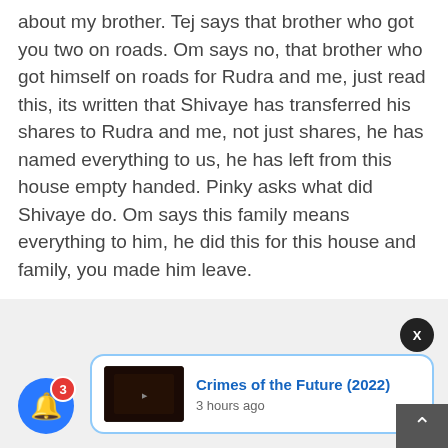about my brother. Tej says that brother who got you two on roads. Om says no, that brother who got himself on roads for Rudra and me, just read this, its written that Shivaye has transferred his shares to Rudra and me, not just shares, he has named everything to us, he has left from this house empty handed. Pinky asks what did Shivaye do. Om says this family means everything to him, he did this for this house and family, you made him leave.
[Figure (screenshot): Notification card showing 'Crimes of the Future (2022)' with a movie thumbnail and '3 hours ago' timestamp, with a blue bell notification icon showing badge count 3, and a dark X close button]